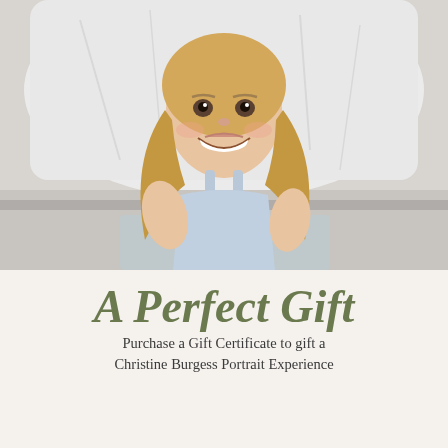[Figure (photo): A smiling young girl with long blonde hair, wearing a light blue sleeveless dress, sitting on a white bed with white pillows behind her, laughing and looking upward at the camera.]
A Perfect Gift
Purchase a Gift Certificate to gift a Christine Burgess Portrait Experience